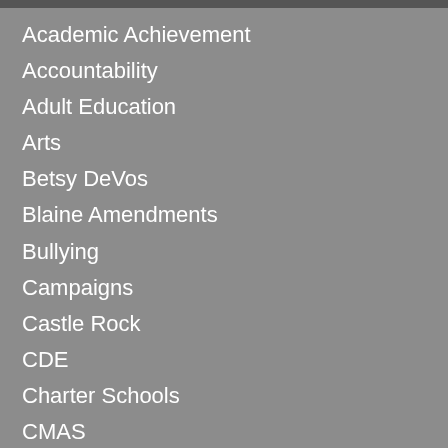Academic Achievement
Accountability
Adult Education
Arts
Betsy DeVos
Blaine Amendments
Bullying
Campaigns
Castle Rock
CDE
Charter Schools
CMAS
College and Career Readiness
Colorado Dept. of Education
Colorado General Assembly